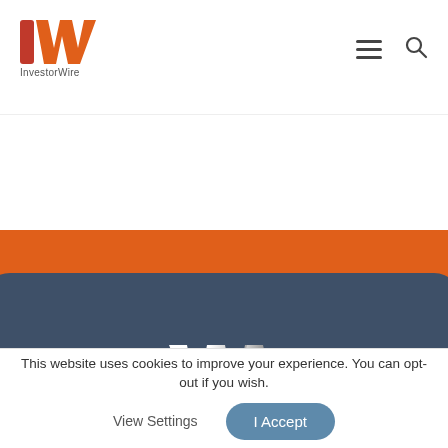[Figure (logo): InvestorWire IW logo in orange and dark red in the top-left header]
[Figure (illustration): Orange background band with dark slate-blue rounded card containing white InvestorWire logo and brand name]
InvestorWire
8033 Sunset Blvd Suite 1037-IW
This website uses cookies to improve your experience. You can opt-out if you wish.
View Settings
I Accept